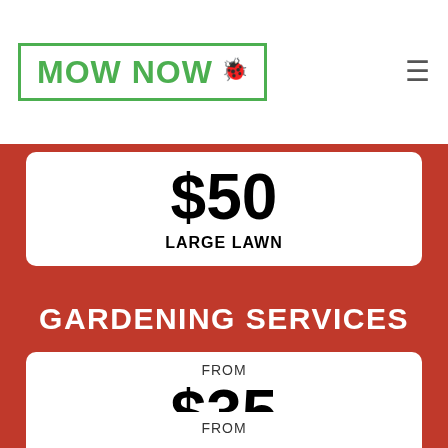MOW NOW
$50 LARGE LAWN
GARDENING SERVICES
FROM $35 WEEDING
FROM